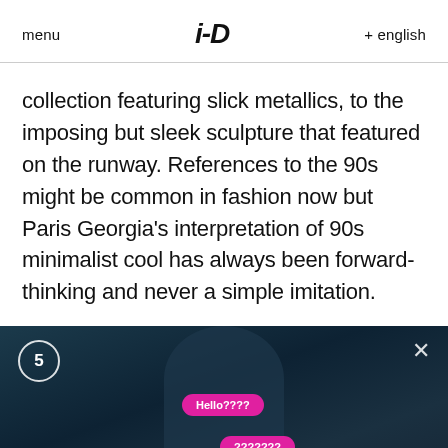menu  i-D  + english
collection featuring slick metallics, to the imposing but sleek sculpture that featured on the runway. References to the 90s might be common in fashion now but Paris Georgia's interpretation of 90s minimalist cool has always been forward-thinking and never a simple imitation.
[Figure (screenshot): Video player screenshot showing a dark scene with a person, pink chat bubbles reading 'Hello????' and '???????', a circled number 5 badge, an X close button, and a mute icon.]